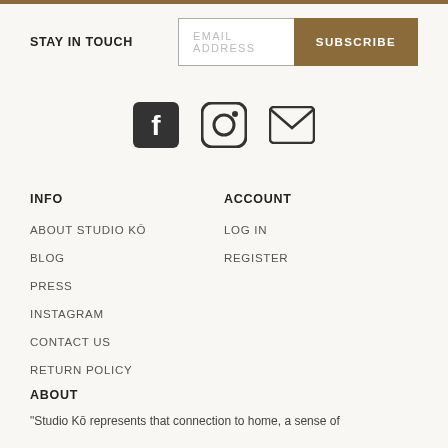STAY IN TOUCH
[Figure (infographic): Email address input field with SUBSCRIBE button]
[Figure (infographic): Social media icons: Facebook, Instagram, Email]
INFO
ABOUT STUDIO KŌ
BLOG
PRESS
INSTAGRAM
CONTACT US
RETURN POLICY
ACCOUNT
LOG IN
REGISTER
ABOUT
"Studio Kō represents that connection to home, a sense of